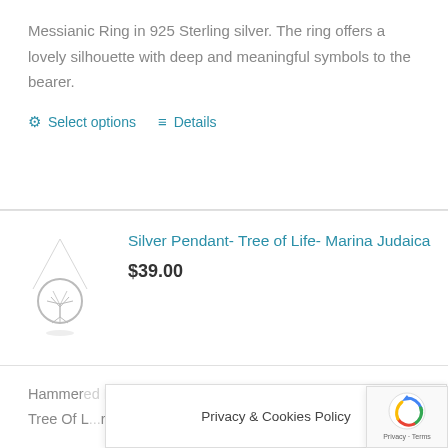Messianic Ring in 925 Sterling silver. The ring offers a lovely silhouette with deep and meaningful symbols to the bearer.
Select options   Details
[Figure (photo): Silver pendant necklace with Tree of Life circular charm on a chain]
Silver Pendant- Tree of Life- Marina Judaica
$39.00
Hammered Round pendant with a Tree Of L...r. Flowing
Privacy & Cookies Policy